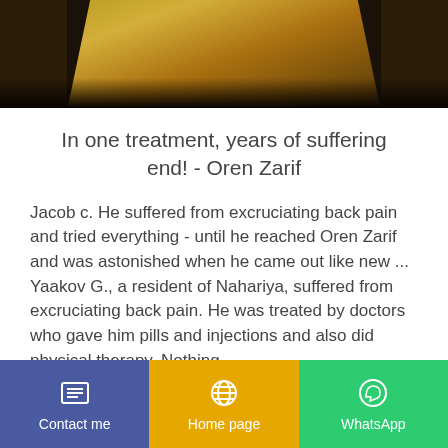[Figure (photo): Top portion of a photo showing a golden/brown glowing object, likely a book or similar item, against a dark background]
In one treatment, years of suffering end! - Oren Zarif
Jacob c. He suffered from excruciating back pain and tried everything - until he reached Oren Zarif and was astonished when he came out like new ...
Yaakov G., a resident of Nahariya, suffered from excruciating back pain. He was treated by doctors who gave him pills and injections and also did physical therapy. Nothing
Contact me | Home page | WhatsApp